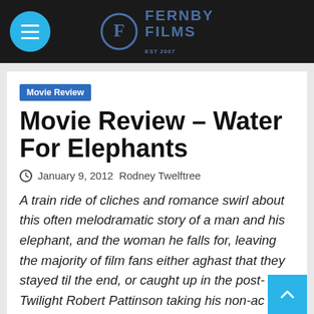Fernby Films
Movie Review
Movie Review – Water For Elephants
January 9, 2012  Rodney Twelftree
A train ride of cliches and romance swirl about this often melodramatic story of a man and his elephant, and the woman he falls for, leaving the majority of film fans either aghast that they stayed til the end, or caught up in the post-Twilight Robert Pattinson taking his non-ac into a film starring entirely no vampires. Well